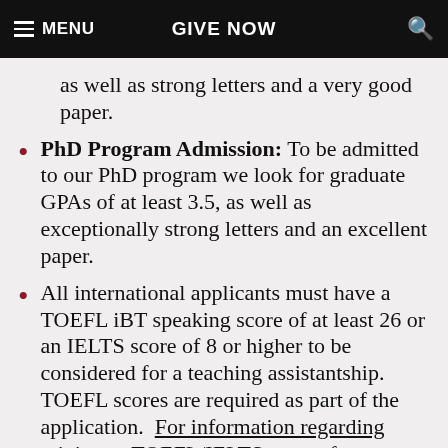MENU | GIVE NOW
as well as strong letters and a very good paper.
PhD Program Admission: To be admitted to our PhD program we look for graduate GPAs of at least 3.5, as well as exceptionally strong letters and an excellent paper.
All international applicants must have a TOEFL iBT speaking score of at least 26 or an IELTS score of 8 or higher to be considered for a teaching assistantship. TOEFL scores are required as part of the application. For information regarding minimum TOEFL/IELTS scores for admission to